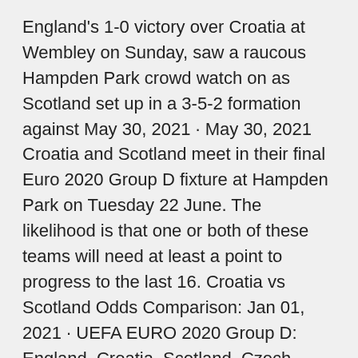England's 1-0 victory over Croatia at Wembley on Sunday, saw a raucous Hampden Park crowd watch on as Scotland set up in a 3-5-2 formation against May 30, 2021 · May 30, 2021 Croatia and Scotland meet in their final Euro 2020 Group D fixture at Hampden Park on Tuesday 22 June. The likelihood is that one or both of these teams will need at least a point to progress to the last 16. Croatia vs Scotland Odds Comparison: Jan 01, 2021 · UEFA EURO 2020 Group D: England, Croatia, Scotland, Czech Republic Head-to-head record v England W3 D4 L11 F23 A44 v Croatia W0 D2 L1 F5 A7 v Scotland W4 D1 L4 F12 A11. Qualifying record: · The first points in Scotland's Euro 2020 group have gone to England following their 1-0 win over Croatia at Wembley. By Angus Wright Sunday, 13th June 2021, 4:15 pm Oct 13, 2019 · Euro 2020 qualifying results: Gareth Bale goal earns Wales hard-fought point vs Croatia and